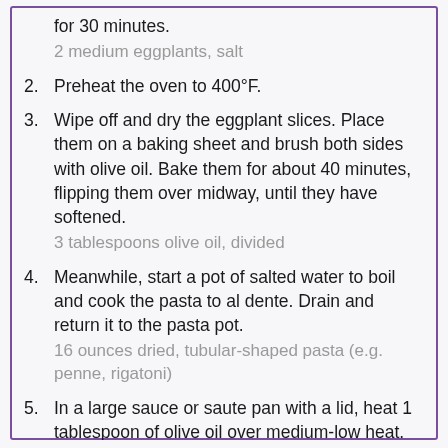for 30 minutes.
2 medium eggplants, salt
2. Preheat the oven to 400°F.
3. Wipe off and dry the eggplant slices. Place them on a baking sheet and brush both sides with olive oil. Bake them for about 40 minutes, flipping them over midway, until they have softened.
3 tablespoons olive oil, divided
4. Meanwhile, start a pot of salted water to boil and cook the pasta to al dente. Drain and return it to the pasta pot.
16 ounces dried, tubular-shaped pasta (e.g. penne, rigatoni)
5. In a large sauce or saute pan with a lid, heat 1 tablespoon of olive oil over medium-low heat. Add the onion and carrot and